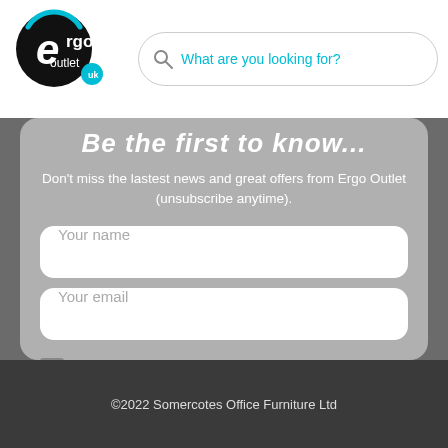[Figure (logo): Ergo Outlet UK logo — black circle with stylized 'e' and cyan arc, text 'ergo outlet uk']
What are you looking for?
Be the first to know...
Don't miss the lastest news and great offers from Ergo Outlet (unsubscribe anytime).
Your name
Your email
Please add me to the contact list.
Subscribe
©2022 Somercotes Office Furniture Ltd